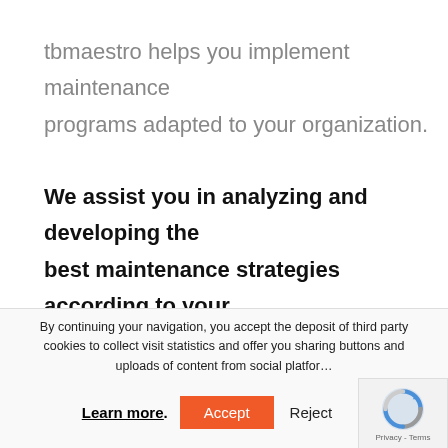tbmaestro helps you implement maintenance programs adapted to your organization.
We assist you in analyzing and developing the best maintenance strategies according to your assets and your operational constraints, and all of this with reliability, security and durability as
By continuing your navigation, you accept the deposit of third party cookies to collect visit statistics and offer you sharing buttons and uploads of content from social platfor…
Learn more. Accept Reject